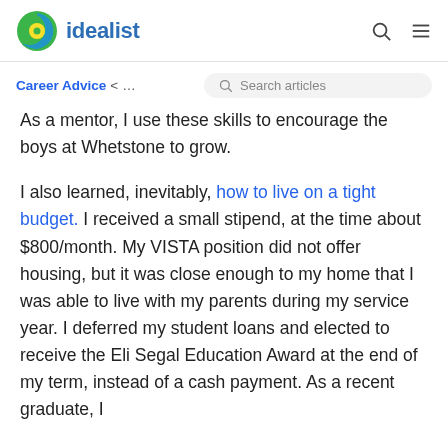idealist
Career Advice < ...  Search articles
As a mentor, I use these skills to encourage the boys at Whetstone to grow.
I also learned, inevitably, how to live on a tight budget. I received a small stipend, at the time about $800/month. My VISTA position did not offer housing, but it was close enough to my home that I was able to live with my parents during my service year. I deferred my student loans and elected to receive the Eli Segal Education Award at the end of my term, instead of a cash payment. As a recent graduate, I